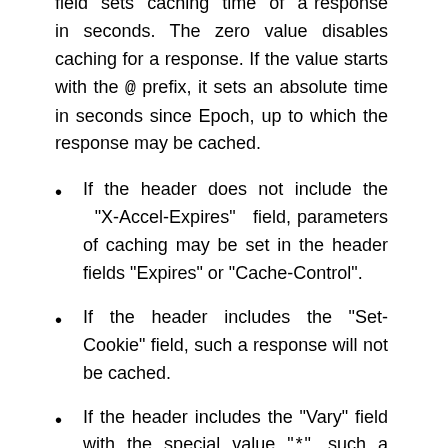field sets caching time of a response in seconds. The zero value disables caching for a response. If the value starts with the @ prefix, it sets an absolute time in seconds since Epoch, up to which the response may be cached.
If the header does not include the “X-Accel-Expires” field, parameters of caching may be set in the header fields “Expires” or “Cache-Control”.
If the header includes the “Set-Cookie” field, such a response will not be cached.
If the header includes the “Vary” field with the special value “*”, such a response will not be